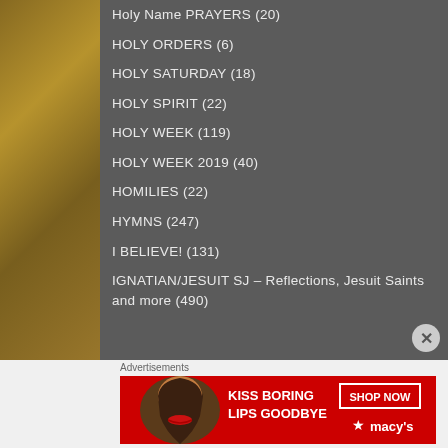Holy Name PRAYERS (20)
HOLY ORDERS (6)
HOLY SATURDAY (18)
HOLY SPIRIT (22)
HOLY WEEK (119)
HOLY WEEK 2019 (40)
HOMILIES (22)
HYMNS (247)
I BELIEVE! (131)
IGNATIAN/JESUIT SJ – Reflections, Jesuit Saints and more (490)
Advertisements
[Figure (photo): Macy's advertisement banner: woman's face with red lips, text KISS BORING LIPS GOODBYE and SHOP NOW macys]